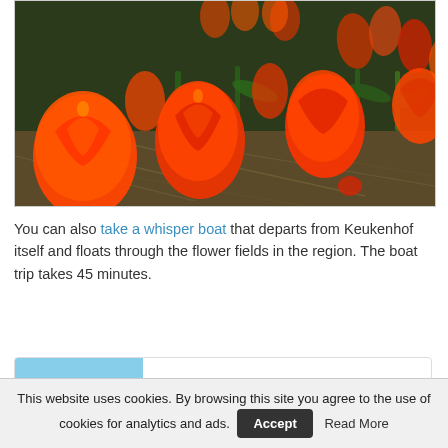[Figure (photo): Close-up photo of a field of bright orange-red tulips with green stems and leaves, and straw/hay on the ground between them.]
You can also take a whisper boat that departs from Keukenhof itself and floats through the flower fields in the region. The boat trip takes 45 minutes.
[Figure (photo): Small thumbnail image of a whisper boat tour on a canal with colorful flower fields in the background and a group of tourists on the boat.]
LISSE · OUT OF SEASON
Whisper Sailing Tour Keukenhof
Temporarily unavailable
3.9 / 5 (39)
This website uses cookies. By browsing this site you agree to the use of cookies for analytics and ads. Accept  Read More